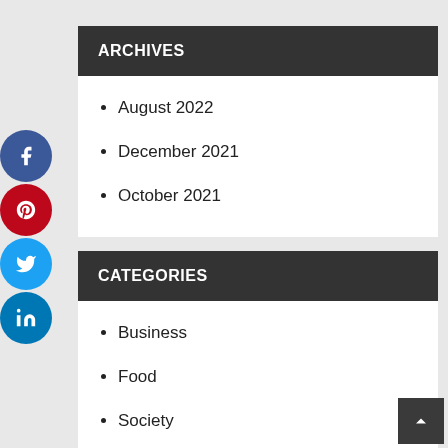ARCHIVES
August 2022
December 2021
October 2021
CATEGORIES
Business
Food
Society